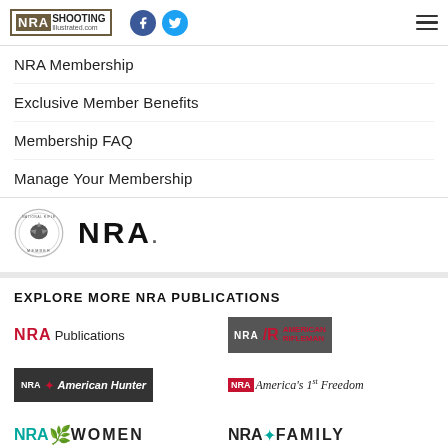NRA Shooting Illustrated
NRA Membership
Exclusive Member Benefits
Membership FAQ
Manage Your Membership
[Figure (logo): NRA Member seal and NRA wordmark logo]
EXPLORE MORE NRA PUBLICATIONS
[Figure (logo): NRA Publications logo]
[Figure (logo): NRA American Rifleman logo]
[Figure (logo): NRA American Hunter logo]
[Figure (logo): NRA America's 1st Freedom logo]
[Figure (logo): NRA Women logo]
[Figure (logo): NRA Family logo]